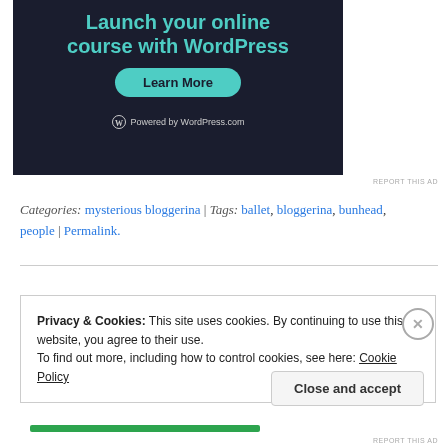[Figure (illustration): WordPress.com ad banner with dark background showing 'Launch your online course with WordPress' heading, a teal 'Learn More' button, and 'Powered by WordPress.com' footer]
REPORT THIS AD
Categories: mysterious bloggerina | Tags: ballet, bloggerina, bunhead, people | Permalink.
Privacy & Cookies: This site uses cookies. By continuing to use this website, you agree to their use.
To find out more, including how to control cookies, see here: Cookie Policy
Close and accept
REPORT THIS AD